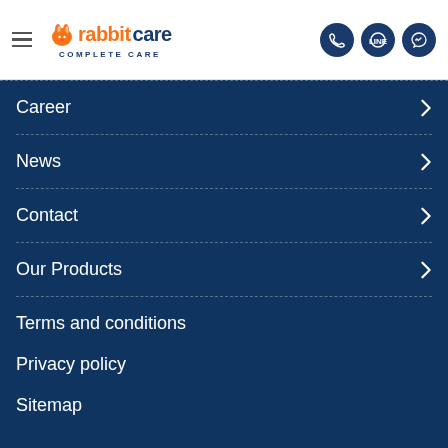[Figure (logo): RabbitCare logo with orange rabbit icon, orange 'rabbit' text, dark blue 'care' text, and 'COMPLETE CARE' subtitle]
Career
News
Contact
Our Products
Terms and conditions
Privacy policy
Sitemap